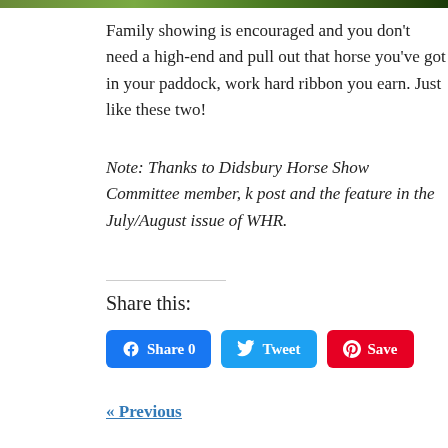[Figure (photo): Green foliage/nature photo strip at top of page]
Family showing is encouraged and you don't need a high-end and pull out that horse you've got in your paddock, work hard ribbon you earn. Just like these two!
Note: Thanks to Didsbury Horse Show Committee member, k post and the feature in the July/August issue of WHR.
Share this:
Share 0   Tweet   Save
« Previous
Comments
Lee McLean says